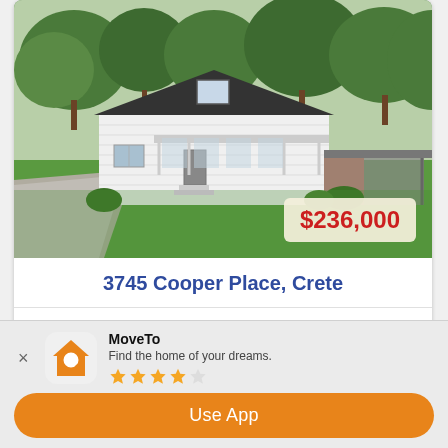[Figure (photo): Exterior photo of a white single-story ranch house with dark roof, large front lawn, trees in background, gravel driveway on left, covered carport on right]
$236,000
3745 Cooper Place, Crete
4 BEDS   2 BATHS   MRD11197439 MLS
MoveTo
Find the home of your dreams.
★★★★☆
Use App